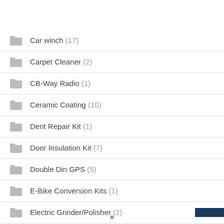Car winch (17)
Carpet Cleaner (2)
CB-Way Radio (1)
Ceramic Coating (10)
Dent Repair Kit (1)
Door Insulation Kit (7)
Double Din GPS (5)
E-Bike Conversion Kits (1)
Electric Grinder/Polisher (2)